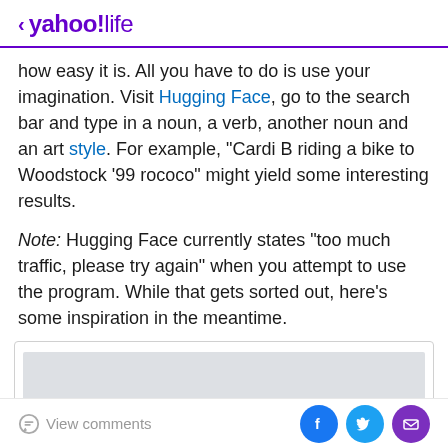< yahoo!life
how easy it is. All you have to do is use your imagination. Visit Hugging Face, go to the search bar and type in a noun, a verb, another noun and an art style. For example, “Cardi B riding a bike to Woodstock ’99 rococo” might yield some interesting results.
Note: Hugging Face currently states “too much traffic, please try again” when you attempt to use the program. While that gets sorted out, here’s some inspiration in the meantime.
[Figure (other): Advertisement placeholder box with light gray background]
View comments | Facebook | Twitter | Email